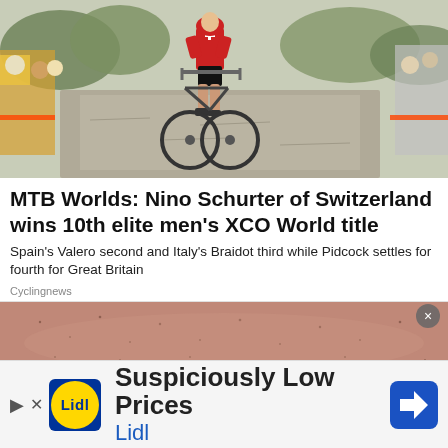[Figure (photo): Mountain biker wearing Swiss jersey crossing a gravel finish line with crowd watching on both sides]
MTB Worlds: Nino Schurter of Switzerland wins 10th elite men's XCO World title
Spain's Valero second and Italy's Braidot third while Pidcock settles for fourth for Great Britain
Cyclingnews
[Figure (photo): Close-up of skin/stubble texture]
[Figure (other): Advertisement banner: Lidl - Suspiciously Low Prices]